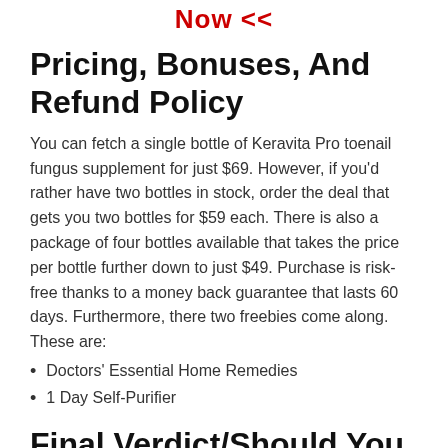Now <<
Pricing, Bonuses, And Refund Policy
You can fetch a single bottle of Keravita Pro toenail fungus supplement for just $69. However, if you'd rather have two bottles in stock, order the deal that gets you two bottles for $59 each. There is also a package of four bottles available that takes the price per bottle further down to just $49. Purchase is risk-free thanks to a money back guarantee that lasts 60 days. Furthermore, there two freebies come along. These are:
Doctors' Essential Home Remedies
1 Day Self-Purifier
Final Verdict/Should You R...